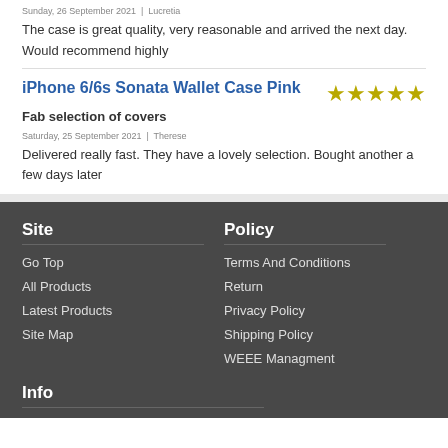Sunday, 26 September 2021 | Lucretia
The case is great quality, very reasonable and arrived the next day. Would recommend highly
iPhone 6/6s Sonata Wallet Case Pink
Fab selection of covers
Saturday, 25 September 2021  |  Therese
Delivered really fast. They have a lovely selection. Bought another a few days later
Site
Go Top
All Products
Latest Products
Site Map
Policy
Terms And Conditions
Return
Privacy Policy
Shipping Policy
WEEE Managment
Info